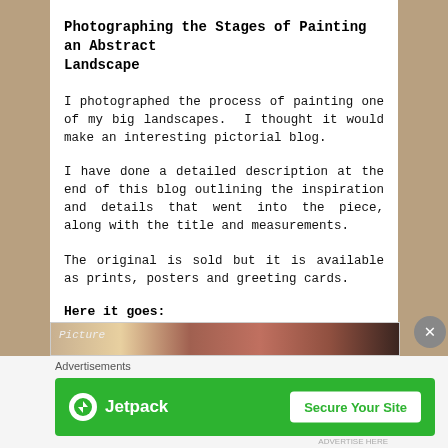Photographing the Stages of Painting an Abstract Landscape
I photographed the process of painting one of my big landscapes.  I thought it would make an interesting pictorial blog.
I have done a detailed description at the end of this blog outlining the inspiration and details that went into the piece, along with the title and measurements.
The original is sold but it is available as prints, posters and greeting cards.
Here it goes:
[Figure (photo): Partial view of painting in progress — abstract landscape]
Advertisements
[Figure (screenshot): Jetpack advertisement banner with 'Secure Your Site' button on green background]